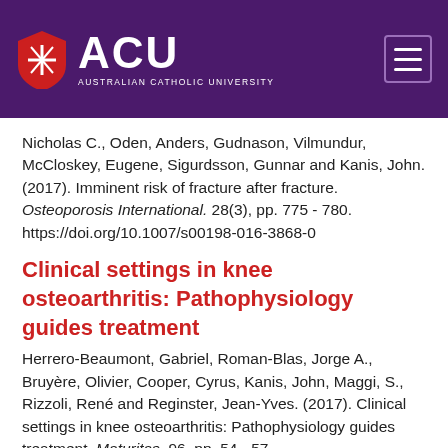ACU - Australian Catholic University
Nicholas C., Oden, Anders, Gudnason, Vilmundur, McCloskey, Eugene, Sigurdsson, Gunnar and Kanis, John. (2017). Imminent risk of fracture after fracture. Osteoporosis International. 28(3), pp. 775 - 780. https://doi.org/10.1007/s00198-016-3868-0
Clinical settings in knee osteoarthritis: Pathophysiology guides treatment
Herrero-Beaumont, Gabriel, Roman-Blas, Jorge A., Bruyère, Olivier, Cooper, Cyrus, Kanis, John, Maggi, S., Rizzoli, René and Reginster, Jean-Yves. (2017). Clinical settings in knee osteoarthritis: Pathophysiology guides treatment. Maturitas. 96, pp. 54 - 57. https://doi.org/10.1016/j.maturitas.2016.11.0